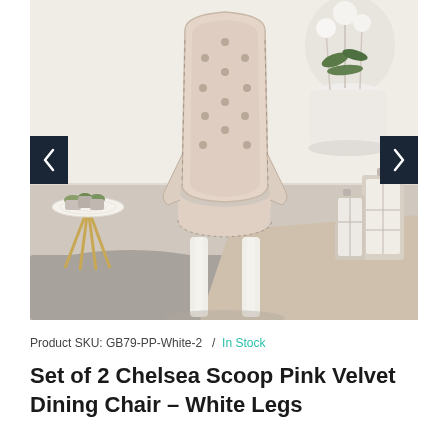[Figure (photo): A light pink velvet tufted dining chair with white legs and nailhead trim, styled in a home decor setting with plants, a gold side table, and decorative lanterns. Navigation arrows on left and right sides of the image.]
Product SKU: GB79-PP-White-2  /  In Stock
Set of 2 Chelsea Scoop Pink Velvet Dining Chair – White Legs